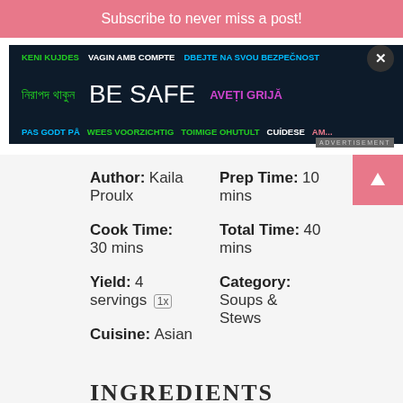Subscribe to never miss a post!
[Figure (infographic): Safety awareness ad banner with multilingual 'BE SAFE' text in various colors on dark background]
Author: Kaila Proulx
Prep Time: 10 mins
Cook Time: 30 mins
Total Time: 40 mins
Category: Soups & Stews
Yield: 4 servings 1x
Cuisine: Asian
INGREDIENTS